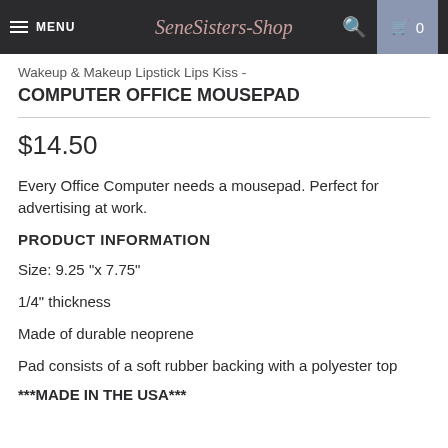MENU | SeneSisters-Shop | 🔍 | 🛒 0
Wakeup & Makeup Lipstick Lips Kiss - COMPUTER OFFICE MOUSEPAD
$14.50
Every Office Computer needs a mousepad. Perfect for advertising at work.
PRODUCT INFORMATION
Size: 9.25 "x 7.75"
1/4" thickness
Made of durable neoprene
Pad consists of a soft rubber backing with a polyester top
***MADE IN THE USA***